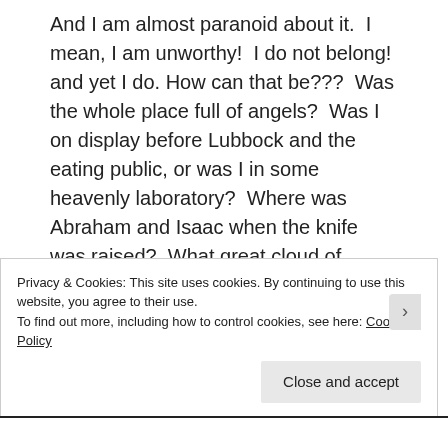And I am almost paranoid about it.  I mean, I am unworthy!  I do not belong! and yet I do. How can that be???  Was the whole place full of angels?  Was I on display before Lubbock and the eating public, or was I in some heavenly laboratory?  Where was Abraham and Isaac when the knife was raised?  What great cloud of witnesses watched this unfolding apocalypse?
I cannot say for sure.  Perhaps it was a
Privacy & Cookies: This site uses cookies. By continuing to use this website, you agree to their use.
To find out more, including how to control cookies, see here: Cookie Policy